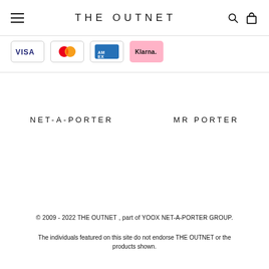THE OUTNET
[Figure (logo): Payment logos: VISA, Mastercard, American Express, Klarna]
[Figure (logo): NET-A-PORTER brand logo]
[Figure (logo): MR PORTER brand logo]
© 2009 - 2022 THE OUTNET , part of YOOX NET-A-PORTER GROUP.
The individuals featured on this site do not endorse THE OUTNET or the products shown.